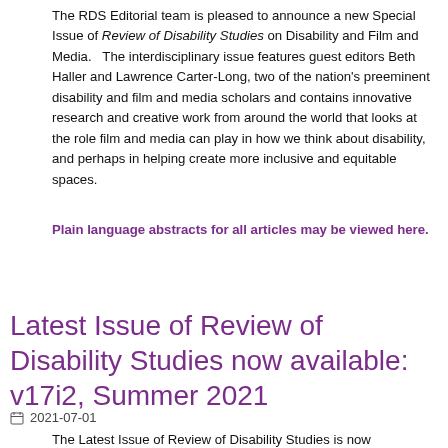The RDS Editorial team is pleased to announce a new Special Issue of Review of Disability Studies on Disability and Film and Media.   The interdisciplinary issue features guest editors Beth Haller and Lawrence Carter-Long, two of the nation's preeminent disability and film and media scholars and contains innovative research and creative work from around the world that looks at the role film and media can play in how we think about disability, and perhaps in helping create more inclusive and equitable spaces.
Plain language abstracts for all articles may be viewed here.
Read more >
Latest Issue of Review of Disability Studies now available: v17i2, Summer 2021
2021-07-01
The Latest Issue of Review of Disability Studies is now